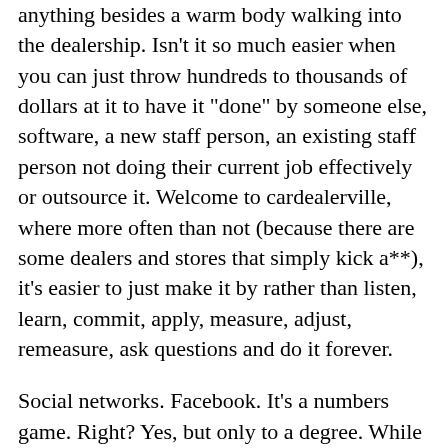anything besides a warm body walking into the dealership. Isn't it so much easier when you can just throw hundreds to thousands of dollars at it to have it "done" by someone else, software, a new staff person, an existing staff person not doing their current job effectively or outsource it. Welcome to cardealerville, where more often than not (because there are some dealers and stores that simply kick a**), it's easier to just make it by rather than listen, learn, commit, apply, measure, adjust, remeasure, ask questions and do it forever.
Social networks. Facebook. It's a numbers game. Right? Yes, but only to a degree. While there are ways to grow a true, engaged following from email blasts to events, promotions to ads, signage to signature lines, an overnight success is as close to real and authentic as Simon Cowell keepng his opinion to himself or Donald Trump's hair staying in place without adhesive.